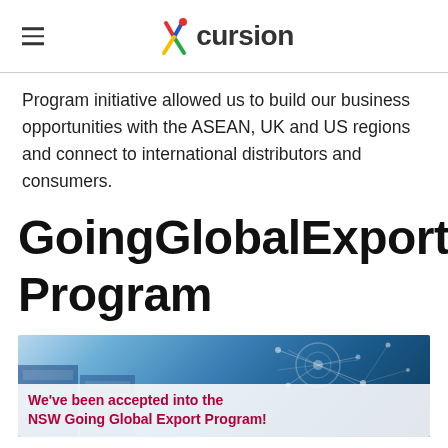Xcursion
Program initiative allowed us to build our business opportunities with the ASEAN, UK and US regions and connect to international distributors and consumers.
Going Global Export Program
[Figure (photo): Background image of global logistics/shipping network with glowing connection lines overlaid on a world map, with white overlay banner reading 'We've been accepted into the NSW Going Global Export Program!']